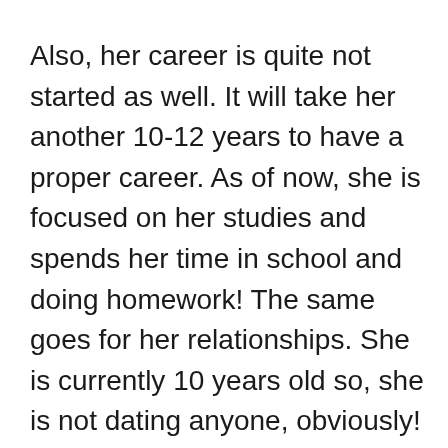Also, her career is quite not started as well. It will take her another 10-12 years to have a proper career. As of now, she is focused on her studies and spends her time in school and doing homework! The same goes for her relationships. She is currently 10 years old so, she is not dating anyone, obviously!